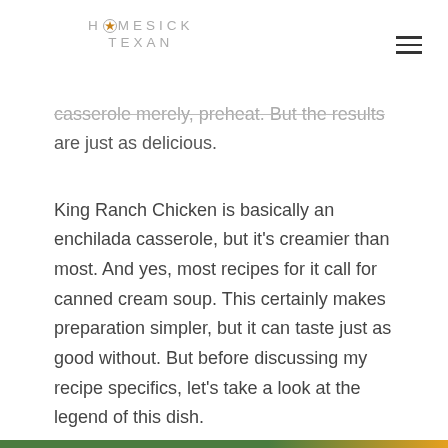HOMESICK TEXAN
casserole merely, preheat. But the results are just as delicious.
King Ranch Chicken is basically an enchilada casserole, but it's creamier than most. And yes, most recipes for it call for canned cream soup. This certainly makes preparation simpler, but it can taste just as good without. But before discussing my recipe specifics, let's take a look at the legend of this dish.